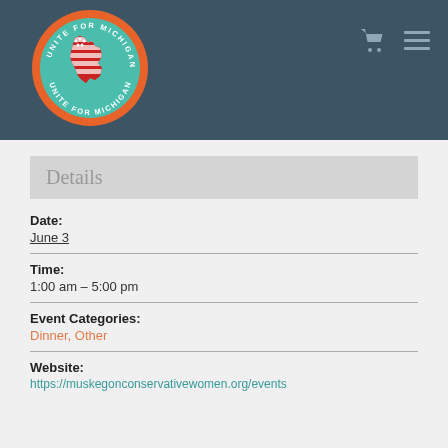[Figure (logo): Unite for Michigan circular logo with Michigan state outline in red/white stripes and teal background, orange border with text 'UNITE FOR MICHIGAN']
Details
Date:
June 3
Time:
1:00 am – 5:00 pm
Event Categories:
Dinner, Other
Website:
https://muskegonconservativewomen.org/events